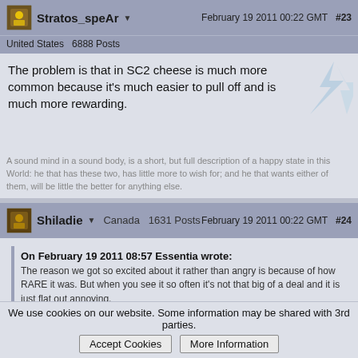Stratos_speAr ▼   February 19 2011 00:22 GMT  #23
United States  6888 Posts
The problem is that in SC2 cheese is much more common because it's much easier to pull off and is much more rewarding.
A sound mind in a sound body, is a short, but full description of a happy state in this World: he that has these two, has little more to wish for; and he that wants either of them, will be little the better for anything else.
Shiladie ▼  Canada  1631 Posts   February 19 2011 00:22 GMT  #24
On February 19 2011 08:57 Essentia wrote:
The reason we got so excited about it rather than angry is because of how RARE it was. But when you see it so often it's not that big of a deal and it is just flat out annoying.
I came here to post something similar, it's not that the builds themselves are annoying (even though they are) it's how often we see them that
We use cookies on our website. Some information may be shared with 3rd parties.  Accept Cookies   More Information